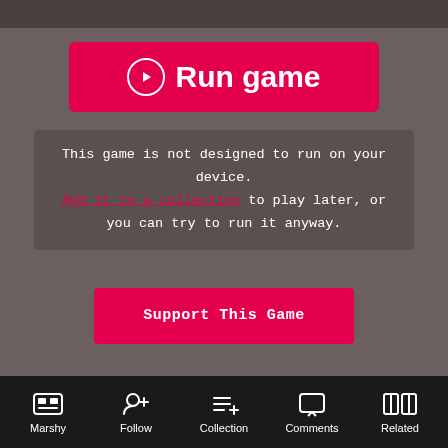[Figure (screenshot): Run game button - pink/red rounded rectangle with play circle icon and text 'Run game' in white]
This game is not designed to run on your device. Add it to a collection to play later, or you can try to run it anyway.
[Figure (screenshot): Support This Game button - pink/red rectangle with white monospace text]
Marshy | Follow | Collection | Comments | Related